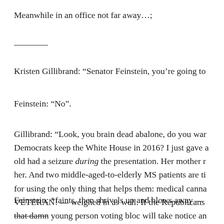Meanwhile in an office not far away…;
Kristen Gillibrand: “Senator Feinstein, you’re going to
Feinstein: “No”.
Gillibrand: “Look, you brain dead abalone, do you war Democrats keep the White House in 2016? I just gave a old had a seizure during the presentation. Her mother r her. And two middle-aged-to-elderly MS patients are ti for using the only thing that helps them: medical canna VETERAN! — weighed in as well. If the Republicans that damn young person voting bloc will take notice an
Feinstein: *faints, then shrivels up and blows away —